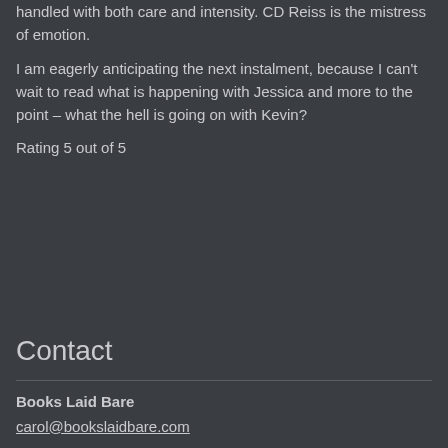handled with both care and intensity. CD Reiss is the mistress of emotion.
I am eagerly anticipating the next instalment, because I can't wait to read what is happening with Jessica and more to the point – what the hell is going on with Kevin?
Rating 5 out of 5
Contact
Books Laid Bare
carol@bookslaidbare.com